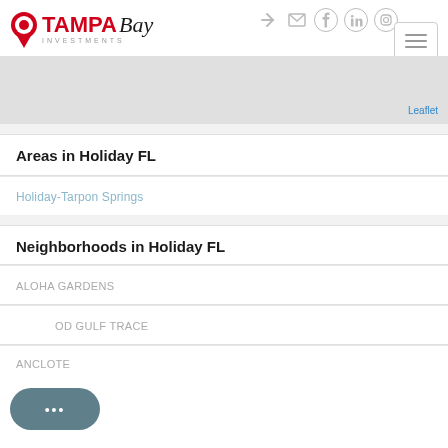[Figure (logo): Tampa Bay Investments logo with red location pin icon and text]
[Figure (map): Gray map area placeholder with Leaflet watermark]
Leaflet
Areas in Holiday FL
Holiday-Tarpon Springs
Neighborhoods in Holiday FL
ALOHA GARDENS
OD GULF TRACE
ANCLOTE